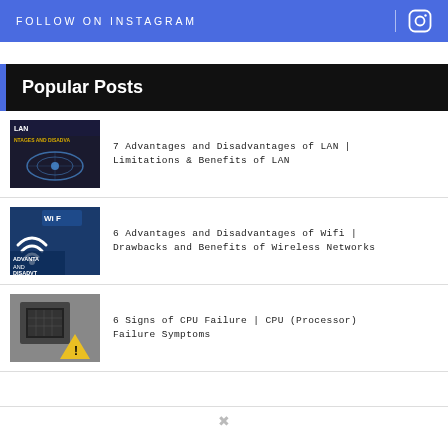FOLLOW ON INSTAGRAM
Popular Posts
7 Advantages and Disadvantages of LAN | Limitations & Benefits of LAN
6 Advantages and Disadvantages of Wifi | Drawbacks and Benefits of Wireless Networks
6 Signs of CPU Failure | CPU (Processor) Failure Symptoms